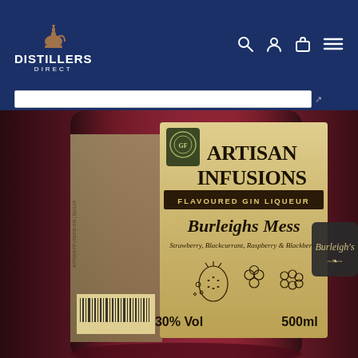[Figure (logo): Distillers Direct logo — brown distillery still icon above bold white text DISTILLERS DIRECT on dark navy background]
[Figure (screenshot): Navigation icons: search magnifier, user/account, shopping bag/cart, hamburger menu — white icons on navy background]
[Figure (photo): Close-up product photo of Artisan Infusions Flavoured Gin Liqueur bottle — label reads: ARTISAN INFUSIONS, FLAVOURED GIN LIQUEUR, Burleighs Mess, Strawberry, Blackcurrant, Raspberry & Blackberry, 30% Vol, 500ml. Bottle filled with deep red/berry-coloured liquid. Small Burleighs branded hang-tag visible on bottle neck.]